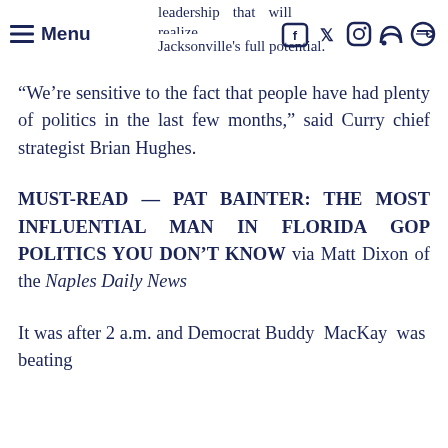Menu | leadership that will realize Jacksonville's full potential.
“We’re sensitive to the fact that people have had plenty of politics in the last few months,” said Curry chief strategist Brian Hughes.
MUST-READ — PAT BAINTER: THE MOST INFLUENTIAL MAN IN FLORIDA GOP POLITICS YOU DON’T KNOW via Matt Dixon of the Naples Daily News
It was after 2 a.m. and Democrat Buddy MacKay was beating